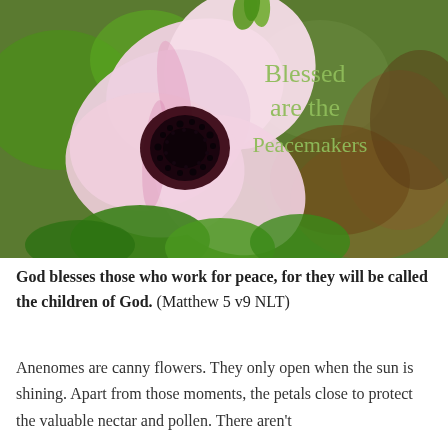[Figure (photo): Close-up photograph of a pink anemone flower with dark center and black stamens, surrounded by green foliage. Text overlay reads 'Blessed are the Peacemakers' in olive/sage green serif font on the right side of the image.]
God blesses those who work for peace, for they will be called the children of God. (Matthew 5 v9 NLT)
Anenomes are canny flowers. They only open when the sun is shining. Apart from those moments, the petals close to protect the valuable nectar and pollen. There aren't